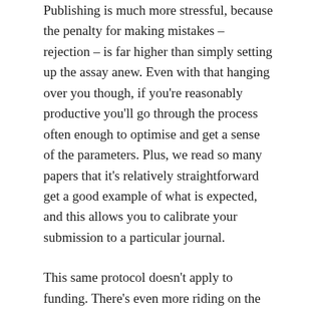Publishing is much more stressful, because the penalty for making mistakes – rejection – is far higher than simply setting up the assay anew. Even with that hanging over you though, if you're reasonably productive you'll go through the process often enough to optimise and get a sense of the parameters. Plus, we read so many papers that it's relatively straightforward get a good example of what is expected, and this allows you to calibrate your submission to a particular journal.
This same protocol doesn't apply to funding. There's even more riding on the big grants than there is on a paper – maybe the survival of an entire group, or a career-altering transition to scientific independence. But learning the lingo, getting a sense of what to write, is much harder – because it's a process that we